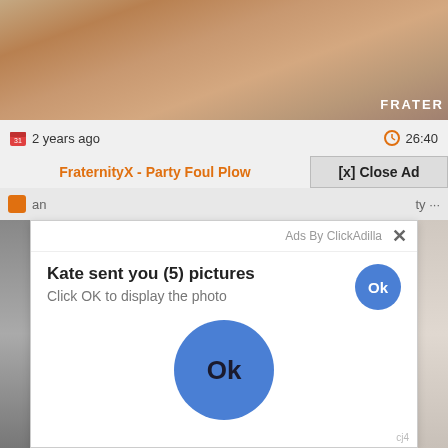[Figure (screenshot): Blurred video thumbnail background from adult video website]
2 years ago
26:40
FraternityX - Party Foul Plow
[x] Close Ad
[Figure (screenshot): Ad popup overlay with message: Kate sent you (5) pictures. Click OK to display the photo. Two blue Ok buttons.]